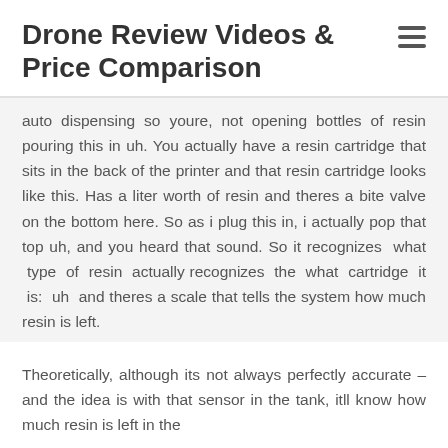Drone Review Videos & Price Comparison
auto dispensing so youre, not opening bottles of resin pouring this in uh. You actually have a resin cartridge that sits in the back of the printer and that resin cartridge looks like this. Has a liter worth of resin and theres a bite valve on the bottom here. So as i plug this in, i actually pop that top uh, and you heard that sound. So it recognizes what type of resin actually recognizes the what cartridge it is: uh and theres a scale that tells the system how much resin is left.
Theoretically, although its not always perfectly accurate – and the idea is with that sensor in the tank, itll know how much resin is left in the